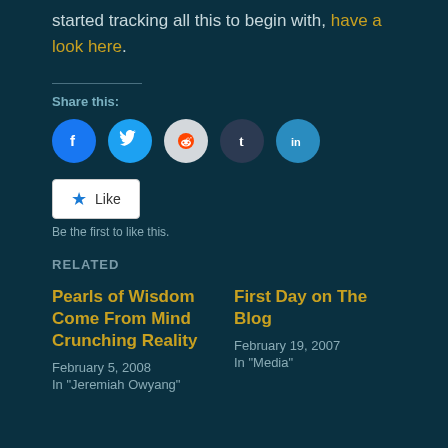started tracking all this to begin with, have a look here.
Share this:
[Figure (other): Social sharing icons: Facebook, Twitter, Reddit, Tumblr, LinkedIn]
Like
Be the first to like this.
RELATED
Pearls of Wisdom Come From Mind Crunching Reality
February 5, 2008
In "Jeremiah Owyang"
First Day on The Blog
February 19, 2007
In "Media"